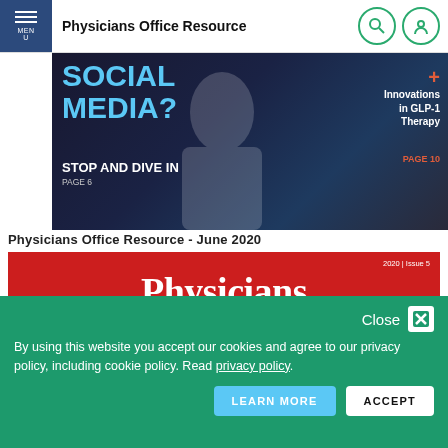Physicians Office Resource
[Figure (screenshot): Website banner showing 'SOCIAL MEDIA? STOP AND DIVE IN PAGE 6' on left with blue text, and 'Innovations in GLP-1 Therapy PAGE 10' on right with orange accent, red plus sign, against dark background with medical professional silhouette.]
Physicians Office Resource - June 2020
[Figure (photo): Magazine cover of Physicians office Resource, 2020 Issue 5, red background with white serif text reading 'Physicians office Resource' and a gray tagline bar at bottom reading 'Resources for You, Your Patients, & Your Practice']
By using this website you accept our cookies and agree to our privacy policy, including cookie policy. Read privacy policy.
Close
LEARN MORE
ACCEPT